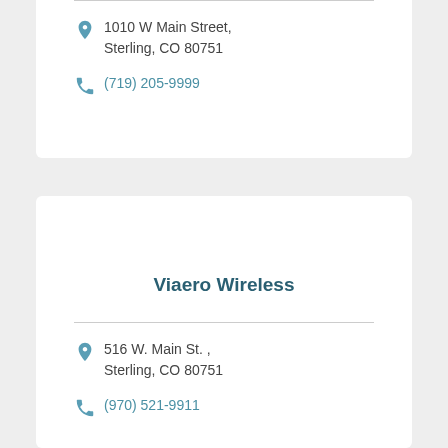1010 W Main Street, Sterling, CO 80751
(719) 205-9999
Viaero Wireless
516 W. Main St. , Sterling, CO 80751
(970) 521-9911